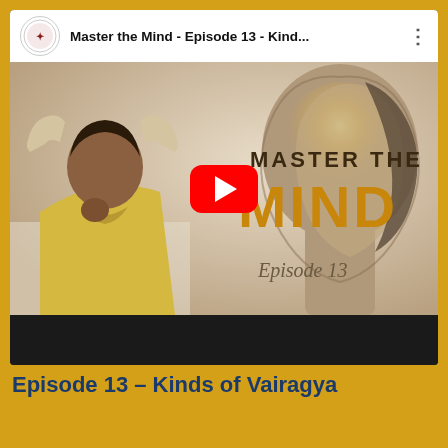[Figure (screenshot): YouTube video player screenshot showing 'Master the Mind - Episode 13 - Kind...' with a thumbnail of a man in a yellow shirt meditating, 'MASTER THE MIND Episode 13' text overlay, red play button, and channel icon in the top bar.]
Episode 13 – Kinds of Vairagya